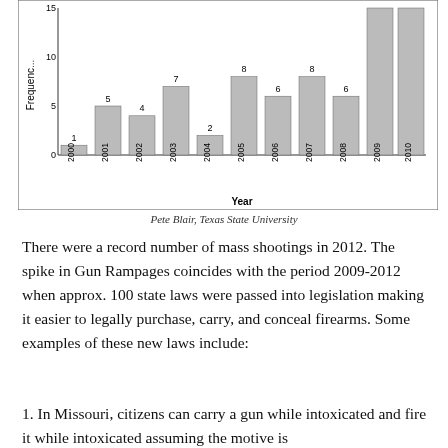[Figure (bar-chart): Frequency by Year]
Pete Blair, Texas State University
There were a record number of mass shootings in 2012. The spike in Gun Rampages coincides with the period 2009-2012 when approx. 100 state laws were passed into legislation making it easier to legally purchase, carry, and conceal firearms. Some examples of these new laws include:
1. In Missouri, citizens can carry a gun while intoxicated and fire it while intoxicated assuming the motive is